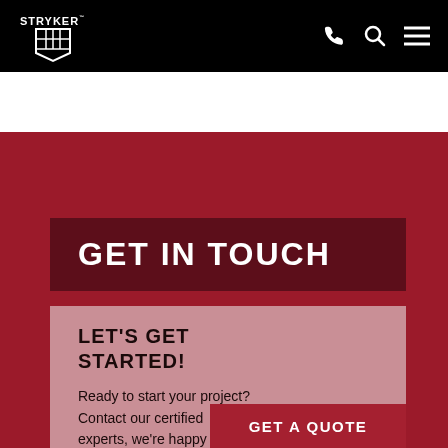[Figure (logo): Stryker logo — white shield with grid pattern and STRYKER text on black navigation bar]
STRYKER
GET IN TOUCH
LET'S GET STARTED!
Ready to start your project? Contact our certified experts, we're happy to help.
GET A QUOTE